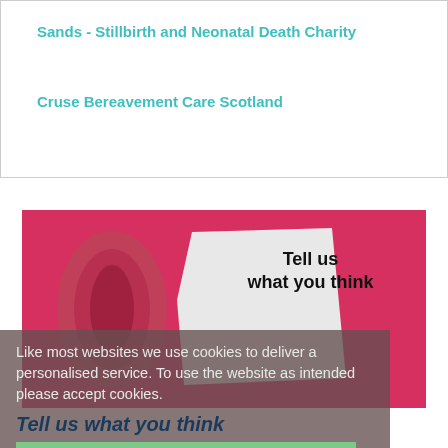Sands - Stillbirth and Neonatal Death Charity
Cruse Bereavement Care Scotland
[Figure (photo): A torn piece of paper revealing text 'Tell us what you think' on a magenta/pink background]
Like most websites we use cookies to deliver a personalised service. To use the website as intended please accept cookies.
Tell us what you think
Accept Cookies
Your feedback will enable us to provide the best possible service. Please take a few minutes to complete our